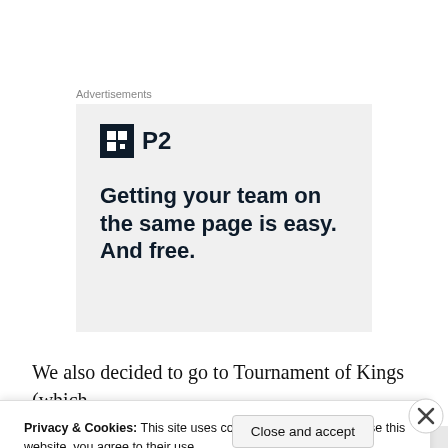Advertisements
[Figure (advertisement): P2 advertisement with logo and tagline: Getting your team on the same page is easy. And free.]
We also decided to go to Tournament of Kings (which
Privacy & Cookies: This site uses cookies. By continuing to use this website, you agree to their use.
To find out more, including how to control cookies, see here: Cookie Policy
Close and accept